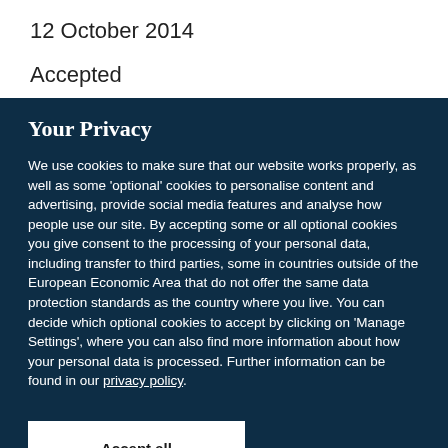12 October 2014
Accepted
Your Privacy
We use cookies to make sure that our website works properly, as well as some 'optional' cookies to personalise content and advertising, provide social media features and analyse how people use our site. By accepting some or all optional cookies you give consent to the processing of your personal data, including transfer to third parties, some in countries outside of the European Economic Area that do not offer the same data protection standards as the country where you live. You can decide which optional cookies to accept by clicking on 'Manage Settings', where you can also find more information about how your personal data is processed. Further information can be found in our privacy policy.
Accept all cookies
Manage preferences